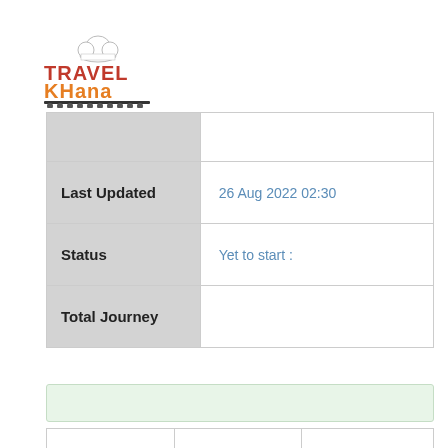[Figure (logo): Travel Khana logo with chef hat icon, TRAVEL in red-orange bold text, KHANA in orange bold text, with decorative pots/icons below]
| Field | Value |
| --- | --- |
|  |  |
| Last Updated | 26 Aug 2022 02:30 |
| Status | Yet to start : |
| Total Journey |  |